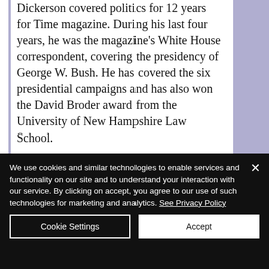Dickerson covered politics for 12 years for Time magazine. During his last four years, he was the magazine's White House correspondent, covering the presidency of George W. Bush. He has covered the six presidential campaigns and has also won the David Broder award from the University of New Hampshire Law School.

A native Washingtonian, Dickerson
We use cookies and similar technologies to enable services and functionality on our site and to understand your interaction with our service. By clicking on accept, you agree to our use of such technologies for marketing and analytics. See Privacy Policy